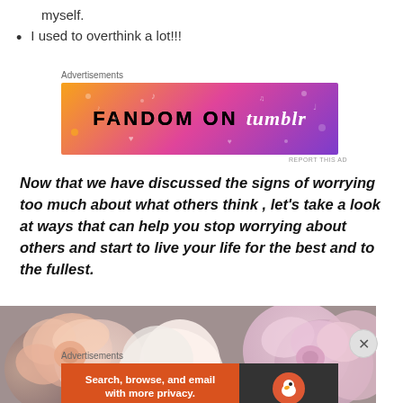myself.
I used to overthink a lot!!!
[Figure (illustration): Fandom on Tumblr advertisement banner with colorful gradient background (orange to purple) and text 'FANDOM ON tumblr']
Now that we have discussed the signs of worrying too much about what others think , let's take a look at ways that can help you stop worrying about others and start to live your life for the best and to the fullest.
[Figure (photo): Close-up photo of pink and peach roses/flowers]
[Figure (illustration): DuckDuckGo advertisement: 'Search, browse, and email with more privacy. All in One Free App' with DuckDuckGo logo on dark background]